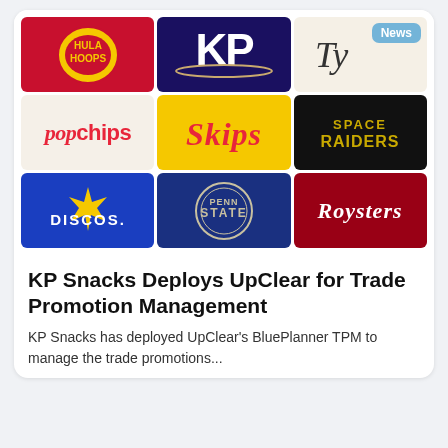[Figure (logo): 3x3 grid of brand logos: Hula Hoops, KP, Tyrrells, Popchips, Skips, Space Raiders, Discos, Penn State, Roysters. News badge overlaid on top-right cell.]
KP Snacks Deploys UpClear for Trade Promotion Management
KP Snacks has deployed UpClear's BluePlanner TPM to manage the trade promotions...